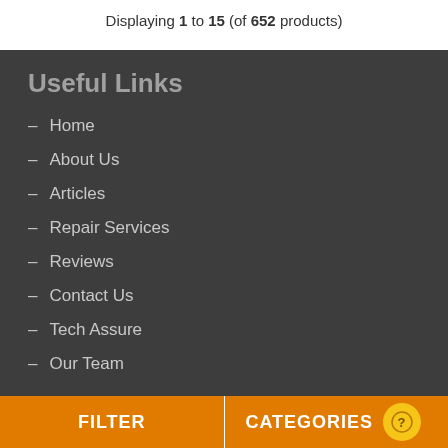Displaying 1 to 15 (of 652 products)
Useful Links
– Home
– About Us
– Articles
– Repair Services
– Reviews
– Contact Us
– Tech Assure
– Our Team
FILTER    CATEGORIES